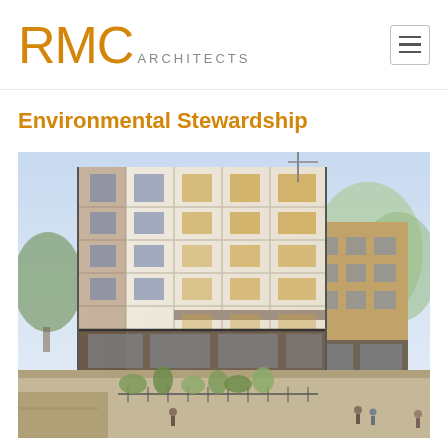RMC Architects
Environmental Stewardship
[Figure (illustration): Architectural rendering of a modern multi-story building with white and brick facade, large glass windows, and street-level retail storefronts. The building appears to be 6-7 stories tall with a mixed-use design. Trees and pedestrians are visible in the foreground.]